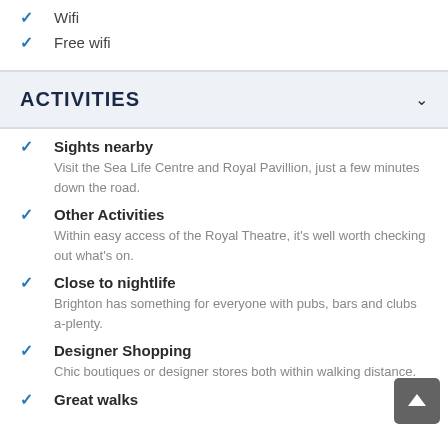Wifi
Free wifi
ACTIVITIES
Sights nearby
Visit the Sea Life Centre and Royal Pavillion, just a few minutes down the road.
Other Activities
Within easy access of the Royal Theatre, it's well worth checking out what's on.
Close to nightlife
Brighton has something for everyone with pubs, bars and clubs a-plenty.
Designer Shopping
Chic boutiques or designer stores both within walking distance.
Great walks